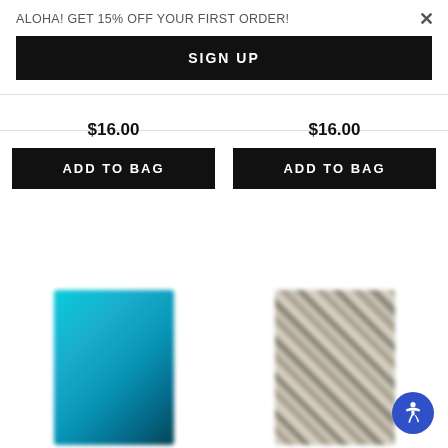ALOHA! GET 15% OFF YOUR FIRST ORDER!
SIGN UP
$16.00
$16.00
ADD TO BAG
ADD TO BAG
[Figure (photo): Teal/turquoise colored product bag, blurred]
[Figure (photo): Beige/cream patterned product bag, blurred]